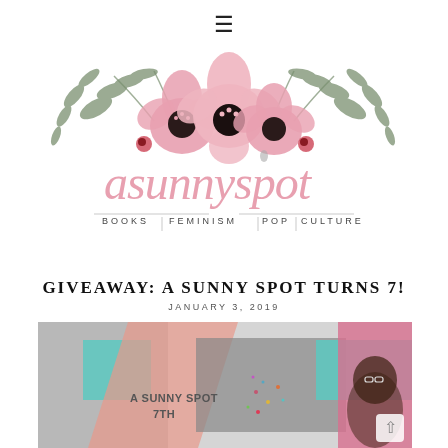≡
[Figure (logo): A Sunny Spot blog logo featuring pink watercolor florals and green foliage over cursive script 'asunnyspot' with subtitle 'BOOKS FEMINISM POP CULTURE']
GIVEAWAY: A SUNNY SPOT TURNS 7!
JANUARY 3, 2019
[Figure (photo): Featured image collage with text overlay 'A SUNNY SPOT 7TH', colorful sprinkles photo, and woman portrait with glasses against pink wall background]